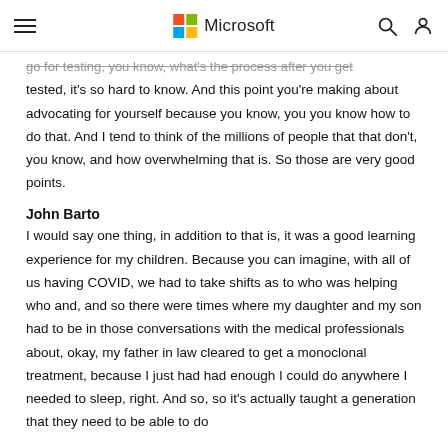Microsoft
go for testing, you know, what's the process after you get tested, it's so hard to know. And this point you're making about advocating for yourself because you know, you you know how to do that. And I tend to think of the millions of people that that don't, you know, and how overwhelming that is. So those are very good points.
John Barto
I would say one thing, in addition to that is, it was a good learning experience for my children. Because you can imagine, with all of us having COVID, we had to take shifts as to who was helping who and, and so there were times where my daughter and my son had to be in those conversations with the medical professionals about, okay, my father in law cleared to get a monoclonal treatment, because I just had had enough I could do anywhere I needed to sleep, right. And so, so it's actually taught a generation that they need to be able to do